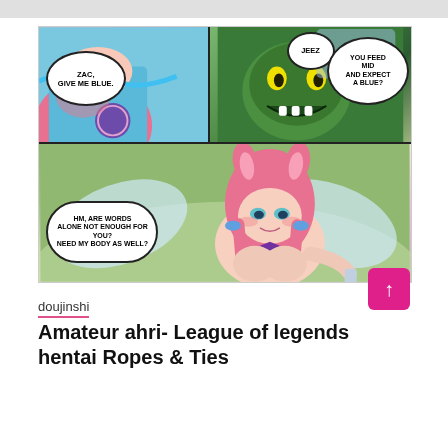[Figure (illustration): Anime/manga style comic strip with multiple panels. Top left panel shows a female character in blue outfit with speech bubble 'ZAC, GIVE ME BLUE.' Top center has a speech bubble 'JEEZ'. Top right panel shows a green monster character with speech bubble 'YOU FEED MID AND EXPECT A BLUE?' Bottom panel shows a pink-haired fox girl character with speech bubble 'HM, ARE WORDS ALONE NOT ENOUGH FOR YOU? NEED MY BODY AS WELL?']
doujinshi
Amateur ahri- League of legends hentai Ropes & Ties